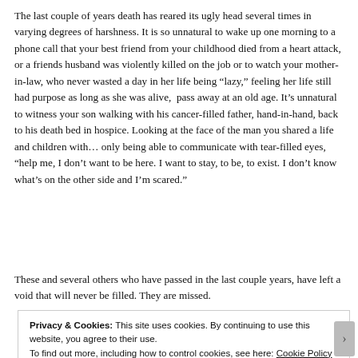The last couple of years death has reared its ugly head several times in varying degrees of harshness. It is so unnatural to wake up one morning to a phone call that your best friend from your childhood died from a heart attack, or a friends husband was violently killed on the job or to watch your mother-in-law, who never wasted a day in her life being “lazy,” feeling her life still had purpose as long as she was alive,  pass away at an old age. It’s unnatural to witness your son walking with his cancer-filled father, hand-in-hand, back to his death bed in hospice. Looking at the face of the man you shared a life and children with… only being able to communicate with tear-filled eyes, “help me, I don’t want to be here. I want to stay, to be, to exist. I don’t know what’s on the other side and I’m scared.”
These and several others who have passed in the last couple years, have left a void that will never be filled. They are missed.
Privacy & Cookies: This site uses cookies. By continuing to use this website, you agree to their use.
To find out more, including how to control cookies, see here: Cookie Policy